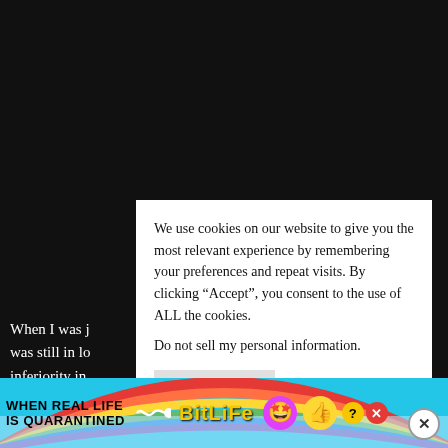[Figure (screenshot): Dark background of a webpage/app with partial white text visible on left side]
When I was j... was still in lo... inferiority in...
We use cookies on our website to give you the most relevant experience by remembering your preferences and repeat visits. By clicking “Accept”, you consent to the use of ALL the cookies.
Do not sell my personal information.
Cookie Settings
Accept
B...
If...
[Figure (infographic): BitLife advertisement banner with rainbow background, text WHEN REAL LIFE IS QUARANTINED, BitLife logo, emoji characters, help and close icons]